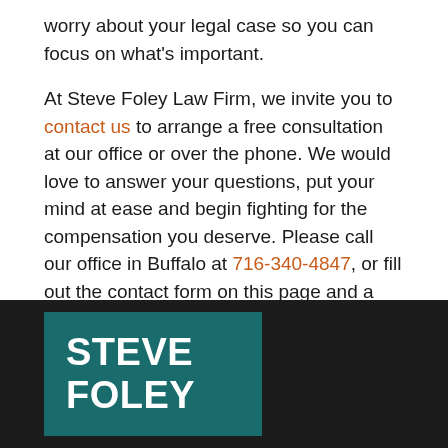worry about your legal case so you can focus on what's important.

At Steve Foley Law Firm, we invite you to contact us to arrange a free consultation at our office or over the phone. We would love to answer your questions, put your mind at ease and begin fighting for the compensation you deserve. Please call our office in Buffalo at 716-340-4847, or fill out the contact form on this page and a member of our team will reach out to you promptly.
[Figure (logo): Steve Foley law firm logo: teal/dark green background with white bold uppercase text reading STEVE FOLEY]